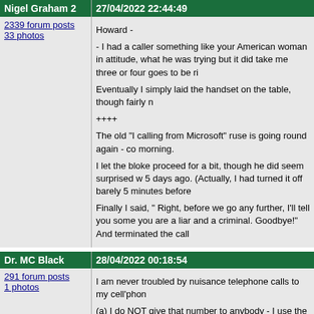Nigel Graham 2 | 27/04/2022 22:44:49
2339 forum posts
33 photos
Howard -

- I had a caller something like your American woman in attitude, what he was trying but it did take me three or four goes to be rid

Eventually I simply laid the handset on the table, though fairly n

++++

The old "I calling from Microsoft" ruse is going round again - co morning.

I let the bloke proceed for a bit, though he did seem surprised w 5 days ago. (Actually, I had turned it off barely 5 minutes before

Finally I said, " Right, before we go any further, I'll tell you some you are a liar and a criminal. Goodbye!" And terminated the call
Dr. MC Black | 28/04/2022 00:18:54
291 forum posts
1 photos
I am never troubled by nuisance telephone calls to my cell'phon

(a) I do NOT give that number to anybody - I use the cell'phone only ring me on my landline telephone number.

(b) I can NOT hear the ring-tone because it is pathetically quiet.

When I receive suspicious calls on my landline telephone numb speak slowly and loudly - and they usually hang up.